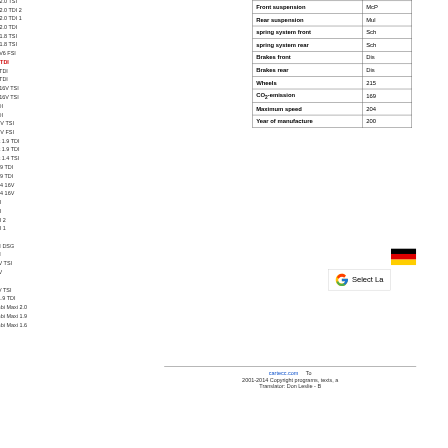2008 Passat CC 3.6 FSI
2008 Passat CC 2.0 TSI
2008 Passat CC 2.0 TDI 2
2008 Passat CC 2.0 TDI 1
2008 Passat CC 2.0 TDI
2008 Passat CC 1.8 TSI
2008 Passat CC 1.8 TSI
2008 Passat 3.6 V6 FSI
2008 Passat 2.0 TDI (active/selected)
2008 Passat 2.0 TDI
2008 Passat 1.9 TDI
2008 Passat 1.8 16V TSI
2008 Passat 1.4 16V TSI
2008 Jetta 1.9 TDI
2008 Jetta 1.9 TDI
2008 Jetta 1.4 16V TSI
2008 Jetta 1.4 16V FSI
2008 Golf Variant 1.9 TDI
2008 Golf Variant 1.9 TDI
2008 Golf Variant 1.4 TSI
2008 Golf Plus 1.9 TDI
2008 Golf Plus 1.9 TDI
2008 Golf Plus 1.4 16V
2008 Golf Plus 1.4 16V
2008 Golf 2.0 TDI
2008 Golf 1.9 TDI
2008 Golf 1.9 TDI 2
2008 Golf 1.9 TDI 1
2008 Golf 1.6
2008 Golf 1.4 TSI DSG
2008 Golf 1.4 TSI
2008 Golf 1.4 16V TSI
2008 Golf 1.4 16V
2008 Golf 1.4
2008 Eos 1.4 16V TSI
2008 CrossGolf 1.9 TDI
2008 Caddy Combi Maxi 2.0
2008 Caddy Combi Maxi 1.9
2008 Caddy Combi Maxi 1.6
2007 Touran TSI
2007 Touran TDI
| Property | Value |
| --- | --- |
| Turning circle | 11.4... |
| Front suspension | McP... |
| Rear suspension | Mul... |
| spring system front | Sch... |
| spring system rear | Sch... |
| Brakes front | Dis... |
| Brakes rear | Dis... |
| Wheels | 215... |
| CO2-emission | 169 |
| Maximum speed | 204 |
| Year of manufacture | 200... |
[Figure (illustration): German flag icon]
Select La...
cartecc.com   To...
2001-2014 Copyright programs, texts, a...
Translator: Don Leslie - B...